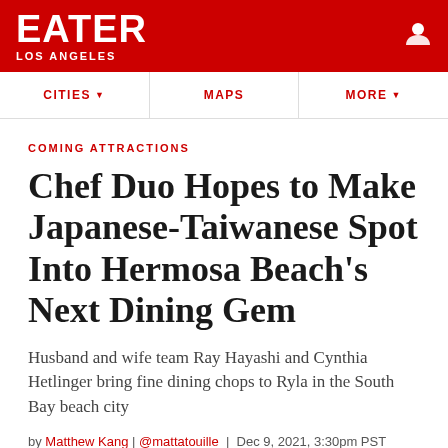EATER LOS ANGELES
COMING ATTRACTIONS
Chef Duo Hopes to Make Japanese-Taiwanese Spot Into Hermosa Beach's Next Dining Gem
Husband and wife team Ray Hayashi and Cynthia Hetlinger bring fine dining chops to Ryla in the South Bay beach city
by Matthew Kang | @mattatouille | Dec 9, 2021, 3:30pm PST